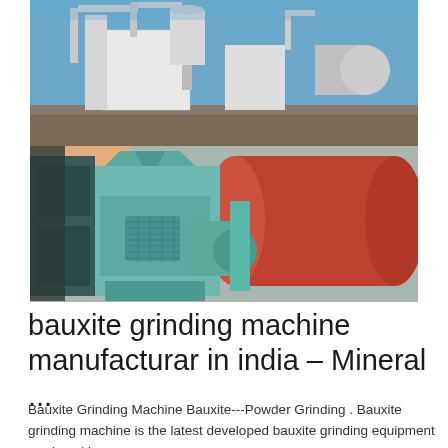[Figure (photo): Two stacked industrial photos: top shows a bauxite grinding plant facility with white industrial buildings, pipes, silos against a blue sky; bottom shows close-up of green/teal grinding machine equipment with a large red cylindrical drum in background.]
bauxite grinding machine manufacturar in india – Mineral ...
Bauxite Grinding Machine Bauxite---Powder Grinding . Bauxite grinding machine is the latest developed bauxite grinding equipment produced by